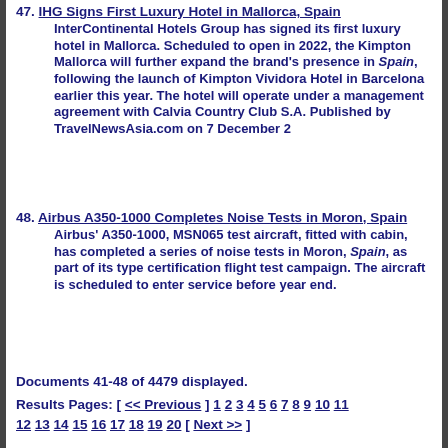47. IHG Signs First Luxury Hotel in Mallorca, Spain
InterContinental Hotels Group has signed its first luxury hotel in Mallorca. Scheduled to open in 2022, the Kimpton Mallorca will further expand the brand’s presence in Spain, following the launch of Kimpton Vividora Hotel in Barcelona earlier this year. The hotel will operate under a management agreement with Calvia Country Club S.A. Published by TravelNewsAsia.com on 7 December 2
48. Airbus A350-1000 Completes Noise Tests in Moron, Spain
Airbus’ A350-1000, MSN065 test aircraft, fitted with cabin, has completed a series of noise tests in Moron, Spain, as part of its type certification flight test campaign. The aircraft is scheduled to enter service before year end.
Documents 41-48 of 4479 displayed.
Results Pages: [ << Previous ] 1 2 3 4 5 6 7 8 9 10 11 12 13 14 15 16 17 18 19 20 [ Next >> ]